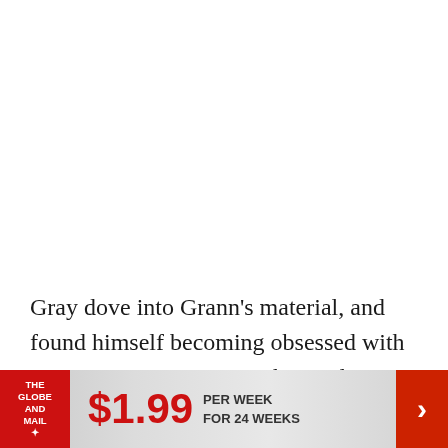Gray dove into Grann's material, and found himself becoming obsessed with Percy Fawcett's story as the production delays piled on – and in doing so, found the thematic link that Z held to the rest of his
[Figure (other): Advertisement banner for The Globe and Mail subscription: $1.99 per week for 24 weeks, with red logo on left and arrow on right]